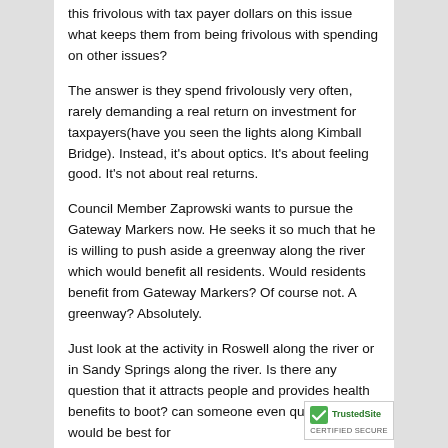this frivolous with tax payer dollars on this issue what keeps them from being frivolous with spending on other issues?
The answer is they spend frivolously very often, rarely demanding a real return on investment for taxpayers(have you seen the lights along Kimball Bridge). Instead, it's about optics. It's about feeling good. It's not about real returns.
Council Member Zaprowski wants to pursue the Gateway Markers now. He seeks it so much that he is willing to push aside a greenway along the river which would benefit all residents. Would residents benefit from Gateway Markers? Of course not. A greenway? Absolutely.
Just look at the activity in Roswell along the river or in Sandy Springs along the river. Is there any question that it attracts people and provides health benefits to boot? can someone even question which would be best for...
[Figure (logo): TrustedSite CERTIFIED SECURE badge with green checkmark]